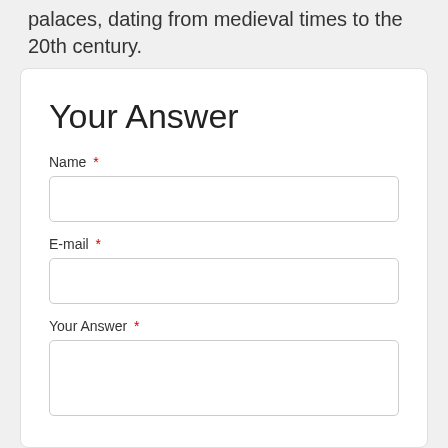palaces, dating from medieval times to the 20th century.
Your Answer
Name *
E-mail *
Your Answer *